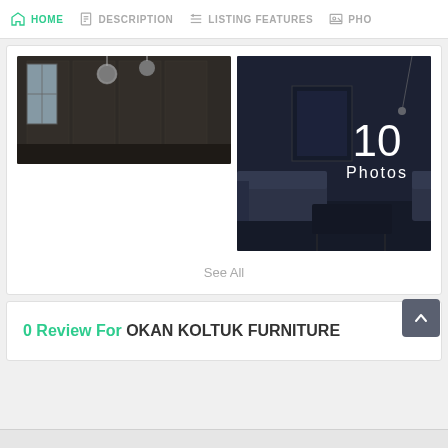HOME  DESCRIPTION  LISTING FEATURES  PHO
[Figure (photo): Two interior room photos side by side. Left: dark paneled room with pendant lights. Right: dark living room with sofa and coffee table, overlaid with '10 Photos' text.]
See All
0 Review For OKAN KOLTUK FURNITURE